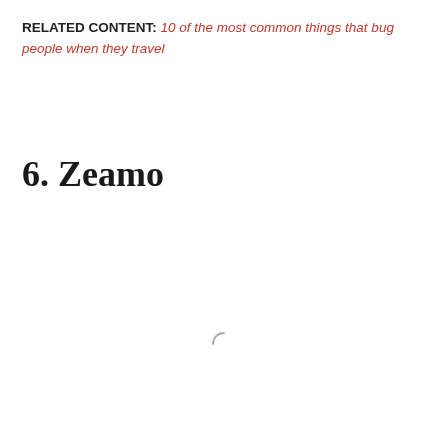RELATED CONTENT: 10 of the most common things that bug people when they travel
6. Zeamo
[Figure (other): Loading spinner icon (partial circle arc indicating content loading)]